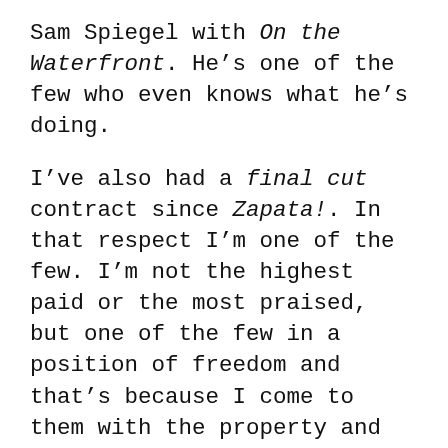Sam Spiegel with On the Waterfront. He's one of the few who even knows what he's doing.
I've also had a final cut contract since Zapata!. In that respect I'm one of the few. I'm not the highest paid or the most praised, but one of the few in a position of freedom and that's because I come to them with the property and the people who are going to make the film. It's my film from the beginning, not theirs.
CARROLL: Were any nude shots cut from The Arrangement? There had been